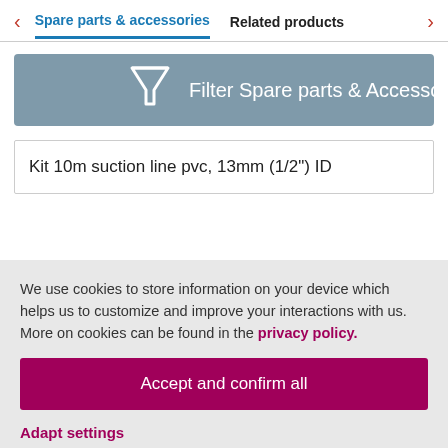Spare parts & accessories | Related products
[Figure (infographic): Filter Spare parts & Accessories button with funnel icon on grey-blue background]
Kit 10m suction line pvc, 13mm (1/2") ID
We use cookies to store information on your device which helps us to customize and improve your interactions with us. More on cookies can be found in the privacy policy.
Accept and confirm all
Adapt settings